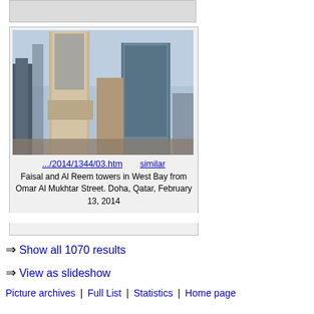[Figure (photo): Gray placeholder bar at top of card]
[Figure (photo): Photograph of Faisal and Al Reem towers in West Bay from Omar Al Mukhtar Street, Doha, Qatar, taken February 13, 2014. Shows tall skyscrapers against a blue sky.]
.../2014/1344/03.htm    similar
Faisal and Al Reem towers in West Bay from Omar Al Mukhtar Street. Doha, Qatar, February 13, 2014
⇒ Show all 1070 results
⇒ View as slideshow
Picture archives | Full List | Statistics | Home page